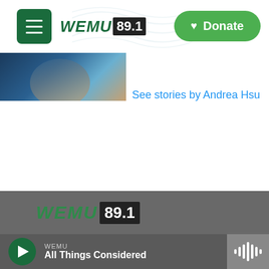[Figure (logo): WEMU 89.1 radio station logo with green text and black frequency box in header]
[Figure (other): Green rounded rectangle Donate button with heart icon]
[Figure (photo): Partial photo of Andrea Hsu partially visible at top left]
See stories by Andrea Hsu
[Figure (logo): WEMU 89.1 logo in footer area on gray background]
WEMU
All Things Considered
[Figure (other): Audio waveform icon in bottom right corner player]